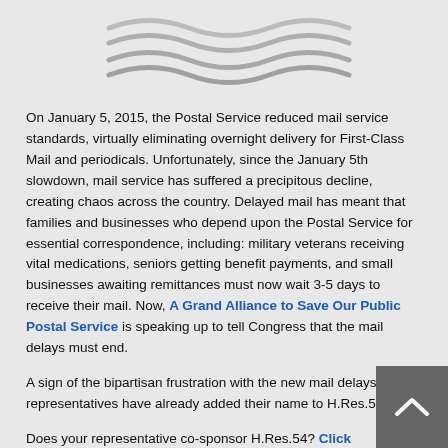[Figure (logo): Postal Service logo or decorative wavy lines graphic in gray]
On January 5, 2015, the Postal Service reduced mail service standards, virtually eliminating overnight delivery for First-Class Mail and periodicals. Unfortunately, since the January 5th slowdown, mail service has suffered a precipitous decline, creating chaos across the country. Delayed mail has meant that families and businesses who depend upon the Postal Service for essential correspondence, including: military veterans receiving vital medications, seniors getting benefit payments, and small businesses awaiting remittances must now wait 3-5 days to receive their mail. Now, A Grand Alliance to Save Our Public Postal Service is speaking up to tell Congress that the mail delays must end.
A sign of the bipartisan frustration with the new mail delays, 198 representatives have already added their name to H.Res.54.
Does your representative co-sponsor H.Res.54? Click